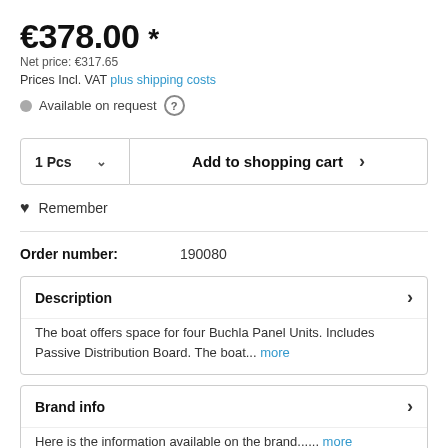€378.00 *
Net price: €317.65
Prices Incl. VAT plus shipping costs
Available on request
1 Pcs   Add to shopping cart
Remember
Order number: 190080
Description
The boat offers space for four Buchla Panel Units. Includes Passive Distribution Board. The boat... more
Brand info
Here is the information available on the brand...... more